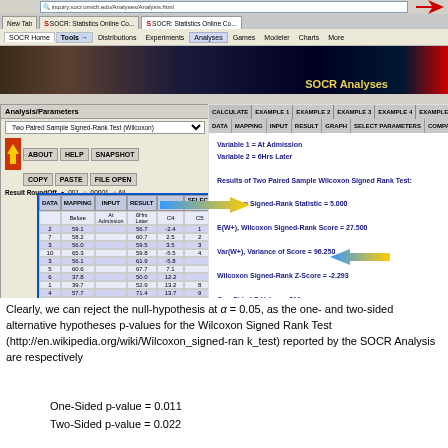[Figure (screenshot): Screenshot of SOCR Statistics Online Computational Resource website showing a Two Paired Sample Signed-Rank Test (Wilcoxon) analysis with data table and results panel showing Wilcoxon Signed-Rank Statistic = 5.000, E(W+) = 27.500, Var(W+) = 96.250, Z-Score = -2.293, One-Sided P-Value = .011, Two-Sided P-Value = .022]
Clearly, we can reject the null-hypothesis at α = 0.05, as the one- and two-sided alternative hypotheses p-values for the Wilcoxon Signed Rank Test (http://en.wikipedia.org/wiki/Wilcoxon_signed-rank_test) reported by the SOCR Analysis are respectively
One-Sided p-value = 0.011
Two-Sided p-value = 0.022